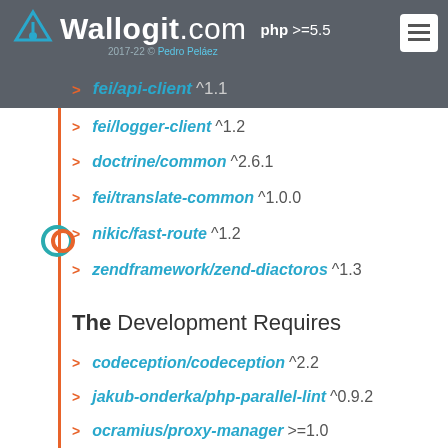Wallogit.com  php >=5.5  2017-22 © Pedro Peláez
fei/api-client ^1.1
fei/logger-client ^1.2
doctrine/common ^2.6.1
fei/translate-common ^1.0.0
nikic/fast-route ^1.2
zendframework/zend-diactoros ^1.3
The Development Requires
codeception/codeception ^2.2
jakub-onderka/php-parallel-lint ^0.9.2
ocramius/proxy-manager >=1.0
phpmd/phpmd ^2.6
phpro/grumphp >=0.9
sebastian/phpcnd ^2.0